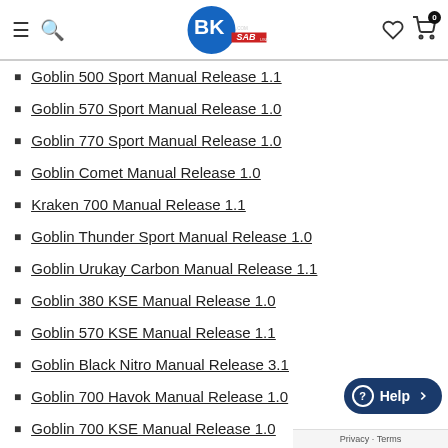BK Hobbies SAB - Navigation header with logo, search, wishlist, and cart icons
Goblin 500 Sport Manual Release 1.1
Goblin 570 Sport Manual Release 1.0
Goblin 770 Sport Manual Release 1.0
Goblin Comet Manual Release 1.0
Kraken 700 Manual Release 1.1
Goblin Thunder Sport Manual Release 1.0
Goblin Urukay Carbon Manual Release 1.1
Goblin 380 KSE Manual Release 1.0
Goblin 570 KSE Manual Release 1.1
Goblin Black Nitro Manual Release 3.1
Goblin 700 Havok Manual Release 1.0
Goblin 700 KSE Manual Release 1.0